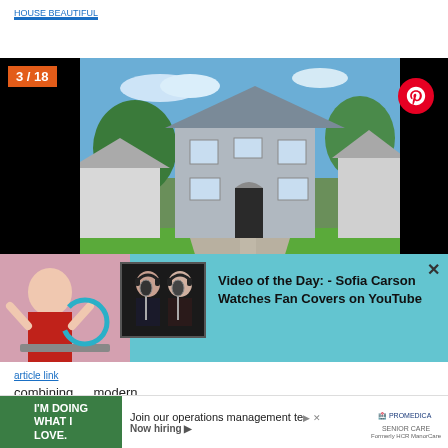navigation link (blue underlined)
[Figure (photo): Exterior photo of a two-story gray colonial-style house with green lawn, trees, and neighboring houses. Badge shows '3 / 18'. Pinterest button top right. Fullscreen icon bottom right.]
[Figure (screenshot): Video overlay on blue background showing Sofia Carson and fan cover performers. Close X button top right. Text: 'Video of the Day: - Sofia Carson Watches Fan Covers on YouTube']
combining ... modern
[Figure (other): Ad banner: green section 'I'M DOING WHAT I LOVE.' | 'Join our operations management team.' Now hiring. ProMedica Senior Care logo.]